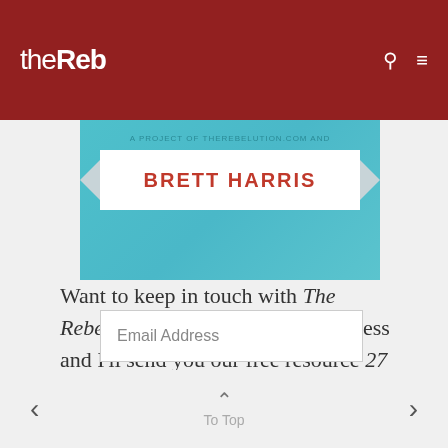theReb
[Figure (illustration): Banner image with teal background showing 'A PROJECT OF THEREBELUTION.COM AND' text above a white ribbon banner with red text reading 'BRETT HARRIS']
Want to keep in touch with The Rebelution? Enter your email address and I'll send you our free resource 27 Books Christian Teens Should Read.
Email Address
< To Top >